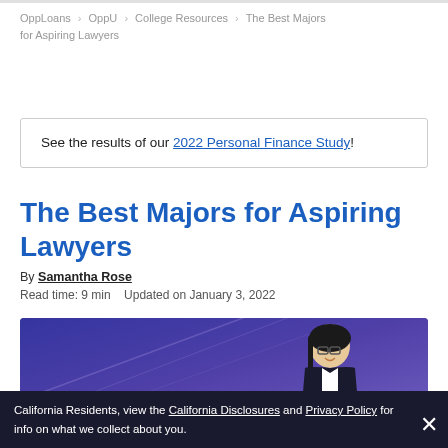OppLoans > OppU > College Resources > The Best Majors for Aspiring Lawyers
See the results of our 2022 Personal Finance Study!
The Best Majors for Aspiring Lawyers
By Samantha Rose
Read time: 9 min    Updated on January 3, 2022
[Figure (photo): Hero image with a smiling woman in a blazer and glasses against a blue/purple gradient background with diagonal lines]
California Residents, view the California Disclosures and Privacy Policy for info on what we collect about you.